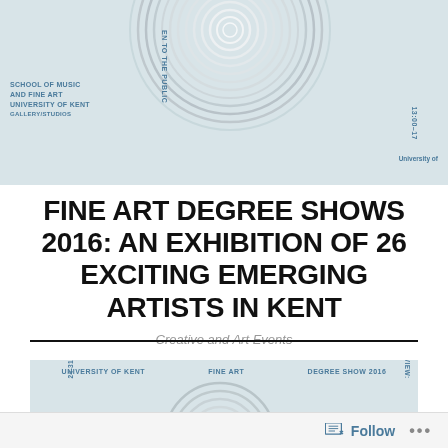[Figure (illustration): Top cropped portion of an event poster/flyer for Fine Art Degree Show 2016 at University of Kent. Light blue-grey background with concentric circle spiral graphic in grey/white. Rotated blue text labels including school name and event details.]
FINE ART DEGREE SHOWS 2016: AN EXHIBITION OF 26 EXCITING EMERGING ARTISTS IN KENT
Creative and Art Events
[Figure (illustration): Bottom partial view of the same event poster. Light blue-grey background with partial concentric circle spiral graphic. Blue text labels: UNIVERSITY OF KENT, FINE ART, DEGREE SHOW 2016 horizontally, and 24-31 MAY 10:00-17:00 and PRIVATE VIEW: rotated vertically.]
Follow